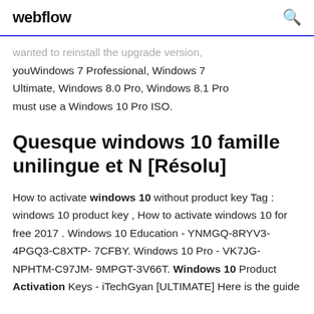webflow
wanted to reinstall the upgrade version, youWindows 7 Professional, Windows 7 Ultimate, Windows 8.0 Pro, Windows 8.1 Pro must use a Windows 10 Pro ISO.
Quesque windows 10 famille unilingue et N [Résolu]
How to activate windows 10 without product key Tag : windows 10 product key , How to activate windows 10 for free 2017 . Windows 10 Education - YNMGQ-8RYV3-4PGQ3-C8XTP-7CFBY. Windows 10 Pro - VK7JG-NPHTM-C97JM-9MPGT-3V66T. Windows 10 Product Activation Keys - iTechGyan [ULTIMATE] Here is the guide